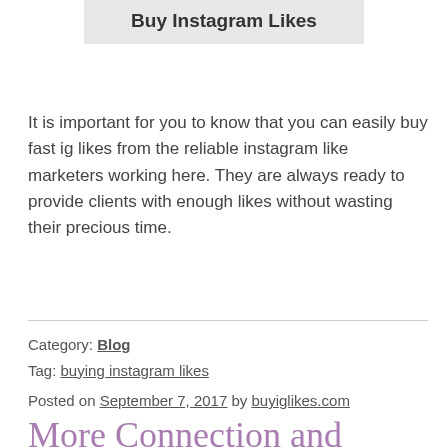Buy Instagram Likes
It is important for you to know that you can easily buy fast ig likes from the reliable instagram like marketers working here. They are always ready to provide clients with enough likes without wasting their precious time.
Category: Blog
Tag: buying instagram likes
Posted on September 7, 2017 by buyiglikes.com
More Connection and